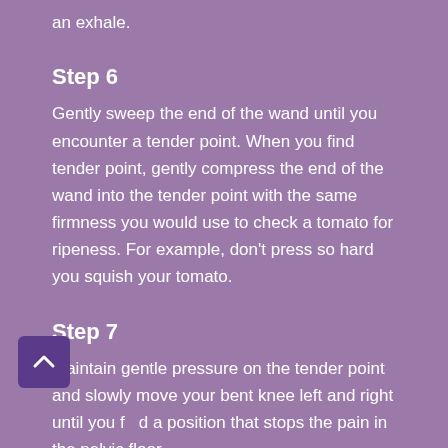an exhale.
Step 6
Gently sweep the end of the wand until you encounter a tender point. When you find tender point, gently compress the end of the wand into the tender point with the same firmness you would use to check a tomato for ripeness. For example, don't press so hard you squish your tomato.
Step 7
Maintain gentle pressure on the tender point and slowly move your bent knee left and right until you find a position that stops the pain in the pelvic floor muscle. When you find this position, remain there for 1 to 2 minutes to allow the tender point to fully release. Continue to breathe slowly...